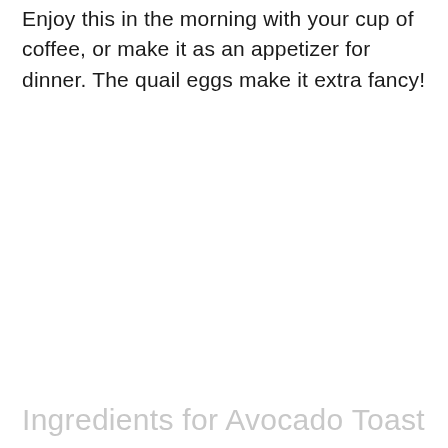Enjoy this in the morning with your cup of coffee, or make it as an appetizer for dinner. The quail eggs make it extra fancy!
Ingredients for Avocado Toast